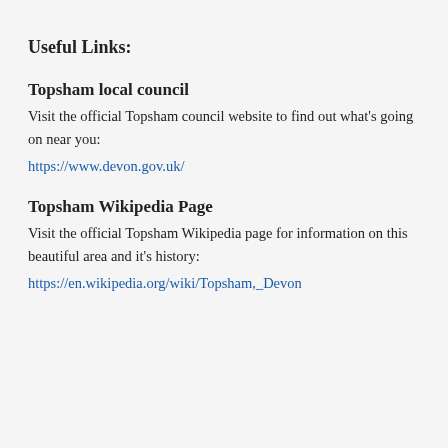Useful Links:
Topsham local council
Visit the official Topsham council website to find out what's going on near you:
https://www.devon.gov.uk/
Topsham Wikipedia Page
Visit the official Topsham Wikipedia page for information on this beautiful area and it's history:
https://en.wikipedia.org/wiki/Topsham,_Devon